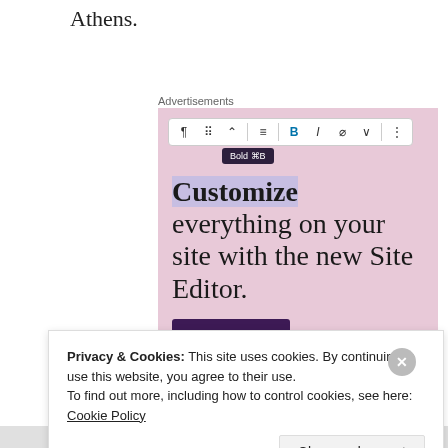Athens.
Advertisements
[Figure (screenshot): WordPress.com advertisement showing a toolbar with Bold tooltip, headline 'Customize everything on your site with the new Site Editor.' and a 'Start Today' button on a pink background, with WordPress.com logo bar at the bottom.]
Privacy & Cookies: This site uses cookies. By continuing to use this website, you agree to their use.
To find out more, including how to control cookies, see here: Cookie Policy
Close and accept